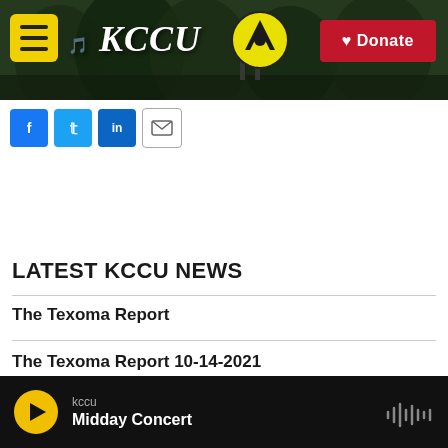[Figure (screenshot): KCCU public radio website header banner with campus background, yellow hamburger menu icon, KCCU logo in white italic text with red music notes, Cameron University logo, and red Donate button]
[Figure (screenshot): Social media sharing buttons: Facebook (blue), Twitter (blue), LinkedIn (blue), and email (white/gray)]
LATEST KCCU NEWS
The Texoma Report
The Texoma Report 10-14-2021
kccu Midday Concert